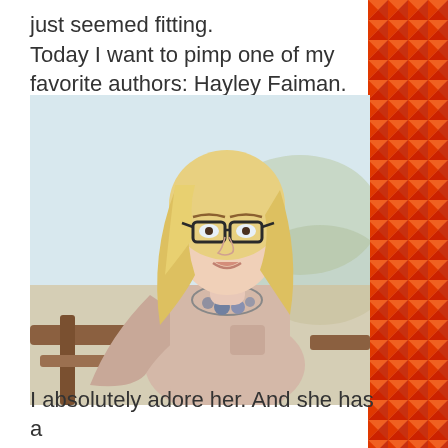just seemed fitting.
Today I want to pimp one of my favorite authors: Hayley Faiman.
[Figure (photo): A smiling blonde woman wearing glasses and a beige long-sleeve top with a decorative necklace, seated outdoors near a beach.]
I absolutely adore her. And she has a